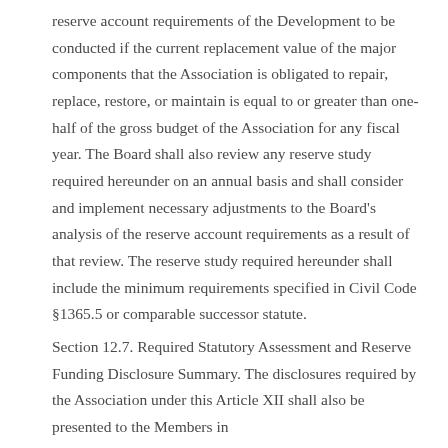reserve account requirements of the Development to be conducted if the current replacement value of the major components that the Association is obligated to repair, replace, restore, or maintain is equal to or greater than one-half of the gross budget of the Association for any fiscal year. The Board shall also review any reserve study required hereunder on an annual basis and shall consider and implement necessary adjustments to the Board's analysis of the reserve account requirements as a result of that review. The reserve study required hereunder shall include the minimum requirements specified in Civil Code §1365.5 or comparable successor statute.
Section 12.7. Required Statutory Assessment and Reserve Funding Disclosure Summary. The disclosures required by the Association under this Article XII shall also be presented to the Members in